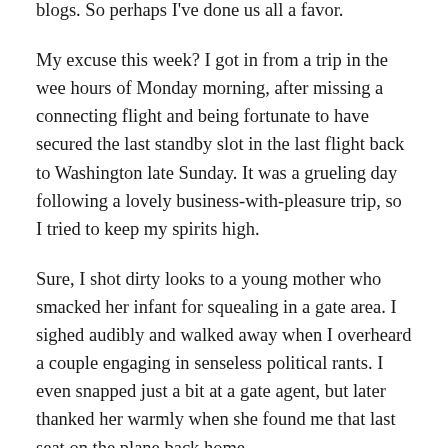blogs. So perhaps I've done us all a favor.
My excuse this week? I got in from a trip in the wee hours of Monday morning, after missing a connecting flight and being fortunate to have secured the last standby slot in the last flight back to Washington late Sunday. It was a grueling day following a lovely business-with-pleasure trip, so I tried to keep my spirits high.
Sure, I shot dirty looks to a young mother who smacked her infant for squealing in a gate area. I sighed audibly and walked away when I overheard a couple engaging in senseless political rants. I even snapped just a bit at a gate agent, but later thanked her warmly when she found me that last seat on the plane back home.
That last seat happened to be beside a woman whose husband was in another row. When she asked if I might be